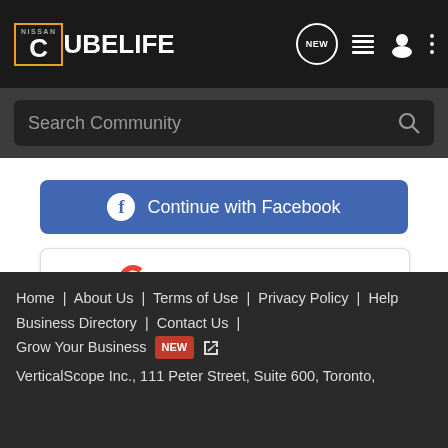NISSAN CUBELIFE — header with search bar, new message icon, list icon, user icon, and more options
[Figure (screenshot): Continue with Facebook button (blue), Continue with Google button (white with Google logo), 'or sign up with email' text link]
or sign up with email
< Brakes, Wheels & Suspension
Home | About Us | Terms of Use | Privacy Policy | Help | Business Directory | Contact Us | Grow Your Business NEW | VerticalScope Inc., 111 Peter Street, Suite 600, Toronto,